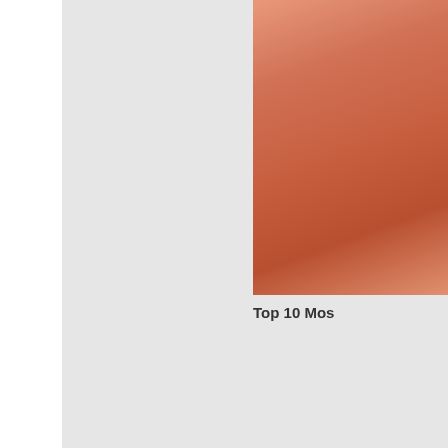[Figure (photo): Light gray rectangular panel occupying the left two-thirds of the page, resembling a sidebar or content placeholder area]
[Figure (photo): Partial photo of skin/body part with warm reddish-orange tones, cropped on the right side of the page, top section]
Top 10 Mos...
[Figure (photo): Dark photo showing what appears to be a garlic bulb or similar object being held by a hand, on a wooden surface, right side bottom section]